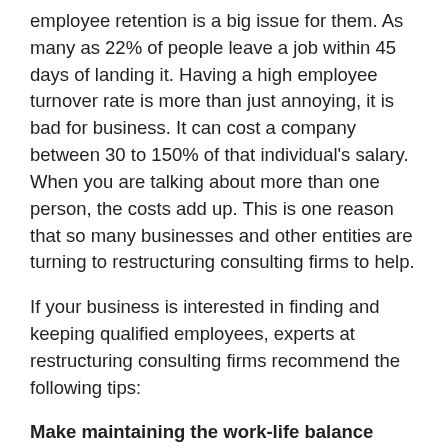employee retention is a big issue for them. As many as 22% of people leave a job within 45 days of landing it. Having a high employee turnover rate is more than just annoying, it is bad for business. It can cost a company between 30 to 150% of that individual's salary. When you are talking about more than one person, the costs add up. This is one reason that so many businesses and other entities are turning to restructuring consulting firms to help.
If your business is interested in finding and keeping qualified employees, experts at restructuring consulting firms recommend the following tips:
Make maintaining the work-life balance important. Companies that recognize their employees have a life outside of their job is a big key to getting them to stick around. Some companies give lip service to this but do not actually foster an environment where employees feel their bosses actually care about the work-life balance in practice. It is not enough to just say your